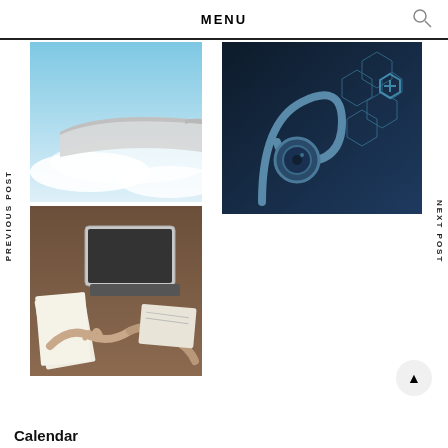MENU
PREVIOUS POST
[Figure (photo): Airplane wing viewed from window seat against blue sky and clouds]
[Figure (photo): Stethoscope on dark surface with digital hexagonal medical icons overlay]
[Figure (photo): Overhead view of business meeting with laptop, papers, and people shaking hands]
NEXT POST
▲
Calendar